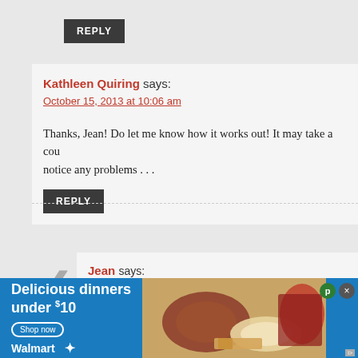REPLY
Kathleen Quiring says:
October 15, 2013 at 10:06 am
Thanks, Jean! Do let me know how it works out! It may take a cou... notice any problems . . .
REPLY
Jean says:
October 19, 2013 at 4:16 am
Hello Kathleen, just a recap. The first wash was ok, am washin... the second left my hair feeling rather oily and was ready for its... it is feeling really good, letting it dry naturally and am really p...
[Figure (infographic): Walmart advertisement banner: Delicious dinners under $10, Shop now button, Walmart logo with spark, food photo]